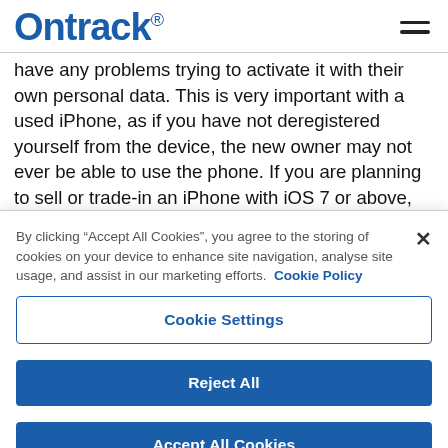Ontrack
have any problems trying to activate it with their own personal data. This is very important with a used iPhone, as if you have not deregistered yourself from the device, the new owner may not ever be able to use the phone. If you are planning to sell or trade-in an iPhone with iOS 7 or above, you have to make sure that Activation Lock is
By clicking “Accept All Cookies”, you agree to the storing of cookies on your device to enhance site navigation, analyse site usage, and assist in our marketing efforts. Cookie Policy
Cookie Settings
Reject All
Accept All Cookies